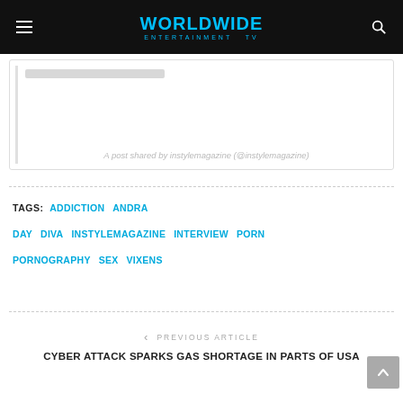WORLDWIDE ENTERTAINMENT TV
[Figure (screenshot): Embedded social media post placeholder with caption: A post shared by instylemagazine (@instylemagazine)]
TAGS: ADDICTION  ANDRA DAY  DIVA  INSTYLEMAGAZINE  INTERVIEW  PORN  PORNOGRAPHY  SEX  VIXENS
< PREVIOUS ARTICLE
CYBER ATTACK SPARKS GAS SHORTAGE IN PARTS OF USA